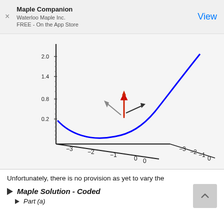Maple Companion
Waterloo Maple Inc.
FREE - On the App Store
View
[Figure (continuous-plot): 3D surface plot showing a curved surface (blue curve representing a function) with axes labeled -3 to 0 on both horizontal axes, and 0.2 to 2.0 on the vertical axis. A red upward arrow and a gray diagonal arrow are shown near the minimum of the curve.]
Unfortunately, there is no provision as yet to vary the
Maple Solution - Coded
Part (a)